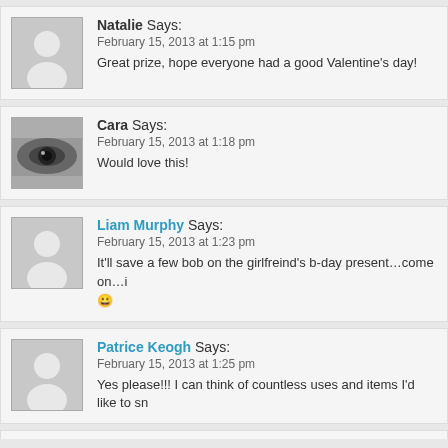Natalie Says: February 15, 2013 at 1:15 pm Great prize, hope everyone had a good Valentine's day!
Cara Says: February 15, 2013 at 1:18 pm Would love this!
Liam Murphy Says: February 15, 2013 at 1:23 pm It'll save a few bob on the girlfreind's b-day present...come on...i 😀
Patrice Keogh Says: February 15, 2013 at 1:25 pm Yes please!!! I can think of countless uses and items I'd like to sn